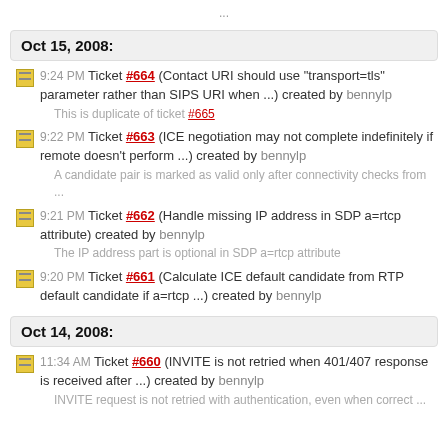...
Oct 15, 2008:
9:24 PM Ticket #664 (Contact URI should use "transport=tls" parameter rather than SIPS URI when ...) created by bennylp
This is duplicate of ticket #665
9:22 PM Ticket #663 (ICE negotiation may not complete indefinitely if remote doesn't perform ...) created by bennylp
A candidate pair is marked as valid only after connectivity checks from ...
9:21 PM Ticket #662 (Handle missing IP address in SDP a=rtcp attribute) created by bennylp
The IP address part is optional in SDP a=rtcp attribute
9:20 PM Ticket #661 (Calculate ICE default candidate from RTP default candidate if a=rtcp ...) created by bennylp
Oct 14, 2008:
11:34 AM Ticket #660 (INVITE is not retried when 401/407 response is received after ...) created by bennylp
INVITE request is not retried with authentication, even when correct ...